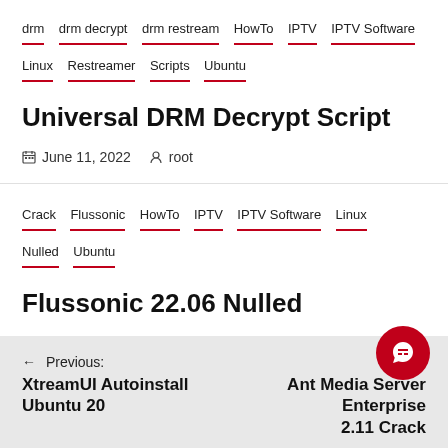drm   drm decrypt   drm restream   HowTo   IPTV   IPTV Software   Linux   Restreamer   Scripts   Ubuntu
Universal DRM Decrypt Script
June 11, 2022   root
Crack   Flussonic   HowTo   IPTV   IPTV Software   Linux   Nulled   Ubuntu
Flussonic 22.06 Nulled
June 8, 2022   root
← Previous: XtreamUI Autoinstall Ubuntu 20   → Ant Media Server Enterprise 2.11 Crack